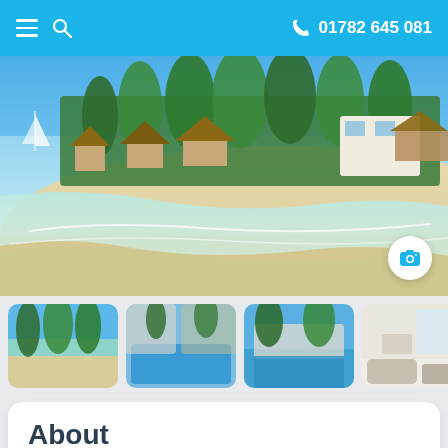☰ 🔍  📞 01782 645 081
[Figure (photo): Tropical beach resort with white sand, turquoise water, palm trees, and thatched-roof bungalows. A sailboat is visible in the background.]
[Figure (photo): Thumbnail: beach with palm trees and clear water]
[Figure (photo): Thumbnail: resort pool area with blue water and loungers]
[Figure (photo): Thumbnail: resort exterior with pool and palm trees]
[Figure (photo): Thumbnail: bright interior room or suite]
About
Azul Beach Resort Riviera Maya is an intimate family-friendly property spread over a gorgeous